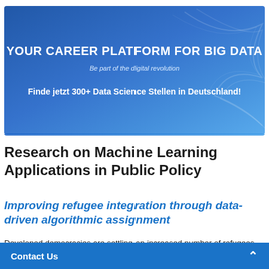[Figure (infographic): Blue gradient banner advertisement for a career platform for big data. Contains bold white title 'YOUR CAREER PLATFORM FOR BIG DATA', italic subtitle 'Be part of the digital revolution', and bold call-to-action 'Finde jetzt 300+ Data Science Stellen in Deutschland!']
Research on Machine Learning Applications in Public Policy
Improving refugee integration through data-driven algorithmic assignment
Developed democracies are settling an increased number of refugees, many of whom face challenges integrating into host societies. We developed a flexible data-driven algorithm that assigns refugees across resettlement locations to maximize integration outcomes. The algori…